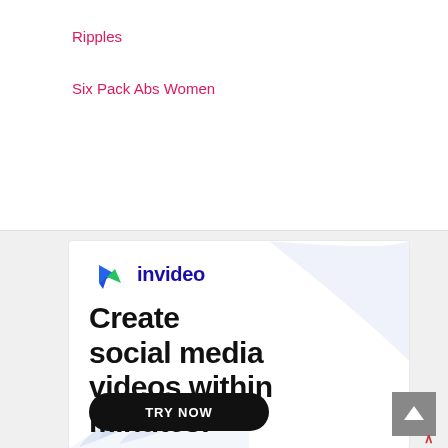Ripples
Six Pack Abs Women
[Figure (infographic): InVideo advertisement banner. Contains InVideo logo (arrow/fish icon in blue and green), tagline 'Create social media videos within minutes!' in bold black text, and a 'TRY NOW' button in black rounded rectangle. Light blue decorative shapes in background.]